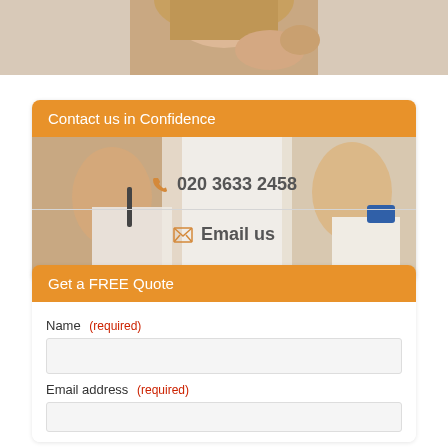[Figure (photo): A woman looking at her hair/phone in the upper portion of the page]
Contact us in Confidence
[Figure (photo): Background photo showing two people, one applying makeup and one smiling, with phone number and email overlaid]
020 3633 2458
Email us
Get a FREE Quote
Name (required)
Email address (required)